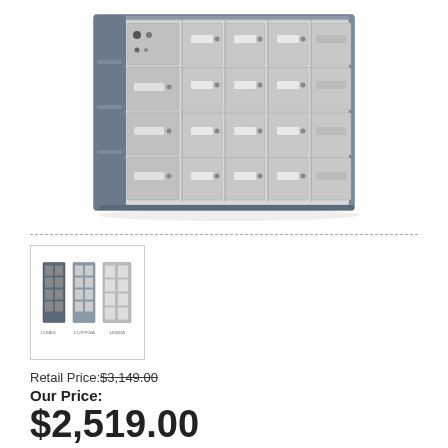[Figure (photo): Large commercial multi-unit horizontal mailbox unit with approximately 20 tenant compartments in silver/aluminum with a dark gray frame, front-loading style with individual locks and name label slots]
[Figure (photo): Thumbnail image showing three color/finish variants of the same mailbox unit side by side with small labels underneath]
Retail Price: $3,149.00 (strikethrough)
Our Price:
$2,519.00
SKU # 140065A